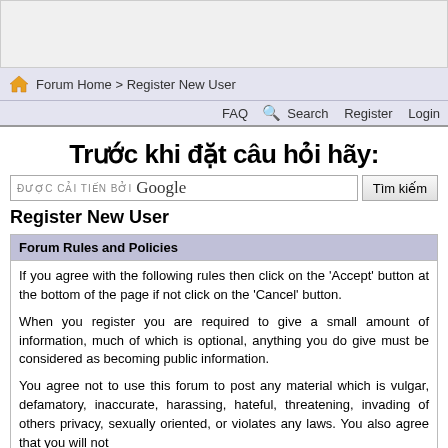[Figure (other): Advertisement banner area (gray/white rectangle)]
Forum Home > Register New User
FAQ  Search  Register  Login
Trước khi đặt câu hỏi hãy:
Register New User
Forum Rules and Policies
If you agree with the following rules then click on the 'Accept' button at the bottom of the page if not click on the 'Cancel' button.
When you register you are required to give a small amount of information, much of which is optional, anything you do give must be considered as becoming public information.
You agree not to use this forum to post any material which is vulgar, defamatory, inaccurate, harassing, hateful, threatening, invading of others privacy, sexually oriented, or violates any laws. You also agree that you will not